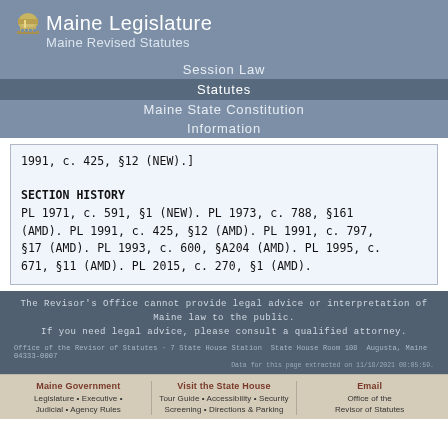Maine Legislature
Maine Revised Statutes
Session Law
Statutes
Maine State Constitution
Information
1991, c. 425, §12 (NEW).]

SECTION HISTORY
PL 1971, c. 591, §1 (NEW). PL 1973, c. 788, §161 (AMD). PL 1991, c. 425, §12 (AMD). PL 1991, c. 797, §17 (AMD). PL 1993, c. 600, §A204 (AMD). PL 1995, c. 671, §11 (AMD). PL 2015, c. 270, §1 (AMD).
The Revisor's Office cannot provide legal advice or interpretation of Maine law to the public.
If you need legal advice, please consult a qualified attorney.
Office of the Revisor of Statutes · 7 State House Station  State House Room 108  Augusta, Maine 04333-0007
Data for this page extracted on 11/18/2021 08:05:59.
Maine Government
Legislature • Executive •
Judicial • Agency Rules

Visit the State House
Tour Guide • Accessibility • Security Screening • Directions & Parking

Email
Office of the Revisor of Statutes